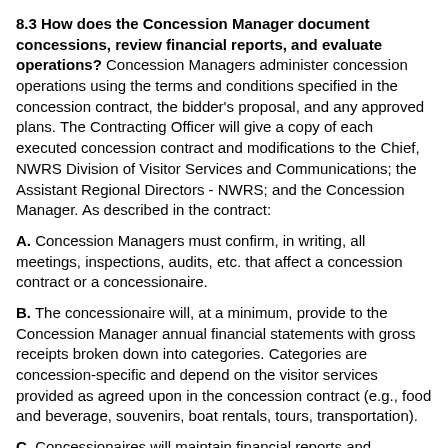8.3 How does the Concession Manager document concessions, review financial reports, and evaluate operations? Concession Managers administer concession operations using the terms and conditions specified in the concession contract, the bidder's proposal, and any approved plans. The Contracting Officer will give a copy of each executed concession contract and modifications to the Chief, NWRS Division of Visitor Services and Communications; the Assistant Regional Directors - NWRS; and the Concession Manager. As described in the contract:
A. Concession Managers must confirm, in writing, all meetings, inspections, audits, etc. that affect a concession contract or a concessionaire.
B. The concessionaire will, at a minimum, provide to the Concession Manager annual financial statements with gross receipts broken down into categories. Categories are concession-specific and depend on the visitor services provided as agreed upon in the concession contract (e.g., food and beverage, souvenirs, boat rentals, tours, transportation).
C. Concessionaires will maintain financial reports and accounting records that provide adequate financial information to support audits of its operations.